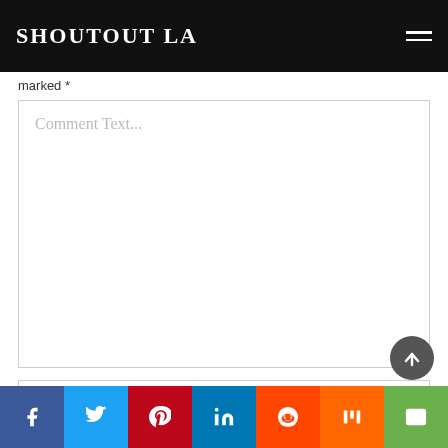SHOUTOUT LA
marked *
Comment Text...
Name *
Email *
[Figure (infographic): Social share bar at bottom with icons for Facebook, Twitter, Pinterest, LinkedIn, Reddit, Mix, and Email]